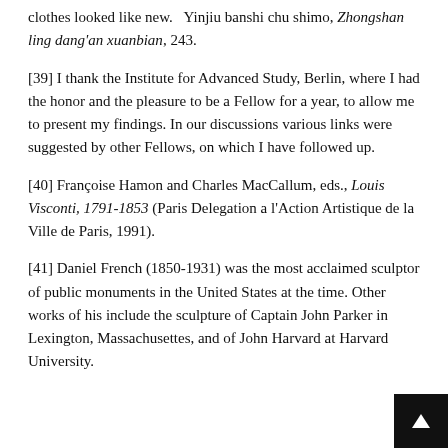clothes looked like new.   Yinjiu banshi chu shimo, Zhongshan ling dang'an xuanbian, 243.
[39] I thank the Institute for Advanced Study, Berlin, where I had the honor and the pleasure to be a Fellow for a year, to allow me to present my findings. In our discussions various links were suggested by other Fellows, on which I have followed up.
[40] Françoise Hamon and Charles MacCallum, eds., Louis Visconti, 1791-1853 (Paris Delegation a l'Action Artistique de la Ville de Paris, 1991).
[41] Daniel French (1850-1931) was the most acclaimed sculptor of public monuments in the United States at the time. Other works of his include the sculpture of Captain John Parker in Lexington, Massachusettes, and of John Harvard at Harvard University.